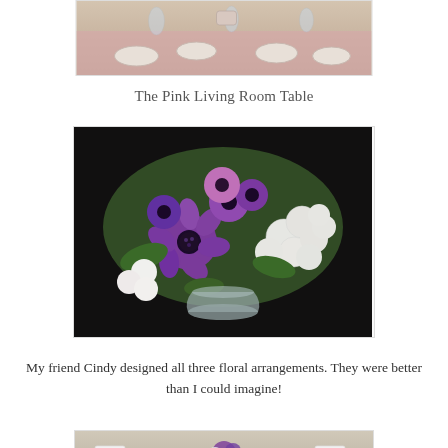[Figure (photo): Top portion of photo showing a pink-tablecloth table set with floral china, glassware, and tea cups — the Pink Living Room Table setting]
The Pink Living Room Table
[Figure (photo): Close-up photo of a floral arrangement featuring purple anemones, white hydrangeas, and green foliage in a crystal vase on a dark background]
My friend Cindy designed all three floral arrangements. They were better than I could imagine!
[Figure (photo): Partial top view of another table setting with white folding chairs and a floral centerpiece visible]